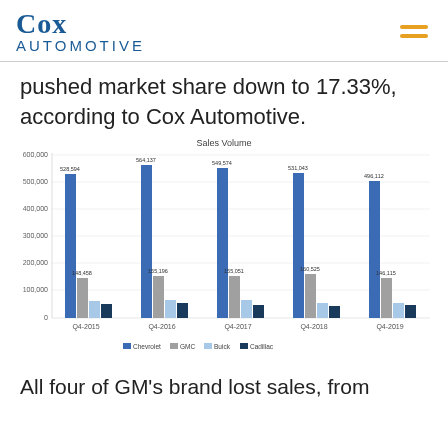[Figure (logo): Cox Automotive logo with hamburger menu icon]
pushed market share down to 17.33%, according to Cox Automotive.
[Figure (grouped-bar-chart): Sales Volume]
All four of GM's brand lost sales, from